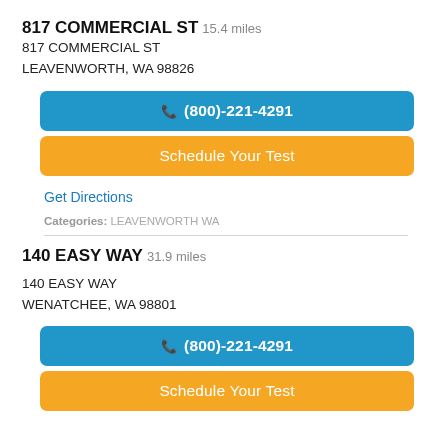817 COMMERCIAL ST  15.4 miles
817 COMMERCIAL ST
LEAVENWORTH, WA 98826
(800)-221-4291
Schedule Your Test
Get Directions
Categories: LEAVENWORTH WA
140 EASY WAY  31.9 miles
140 EASY WAY
WENATCHEE, WA 98801
(800)-221-4291
Schedule Your Test